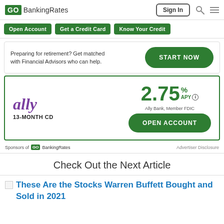GOBankingRates — Sign In
Open Account | Get a Credit Card | Know Your Credit
Preparing for retirement? Get matched with Financial Advisors who can help. START NOW
[Figure (other): Ally Bank 13-Month CD advertisement showing 2.75% APY, Ally Bank Member FDIC, with OPEN ACCOUNT button]
Sponsors of GOBankingRates — Advertiser Disclosure
Check Out the Next Article
These Are the Stocks Warren Buffett Bought and Sold in 2021